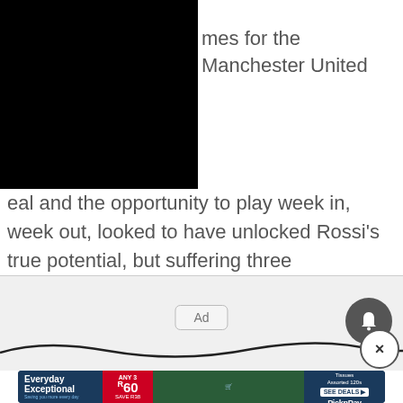[Figure (photo): Black redacted/blocked image in top-left corner]
mes for the Manchester United
eal and the opportunity to play week in, week out, looked to have unlocked Rossi's true potential, but suffering three consecutive serious injuries, in the space of three years, derailed his career.
[Figure (other): Ad placeholder with bell notification button and close button]
[Figure (other): Pick n Pay advertisement banner - Everyday Exceptional, Any 3 R60, Save R38, Twinwave Facial Tissues Assorted 120s]